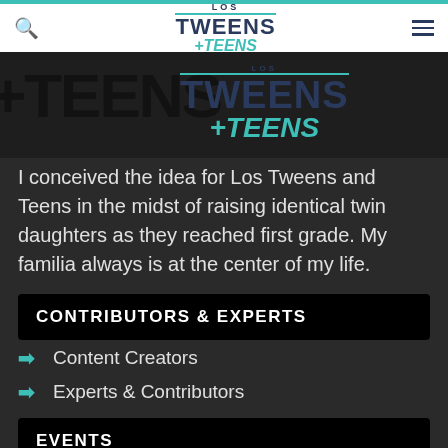LOS TWEENS & TEENS navigation bar
[Figure (logo): Los Tweens & Teens logo with dark background, partially visible large text behind the logo]
I conceived the idea for Los Tweens and Teens in the midst of raising identical twin daughters as they reached first grade. My familia always is at the center of my life.
CONTRIBUTORS & EXPERTS
➜  Content Creators
➜  Experts & Contributors
➜  Write for Los Tweens & Teens
EVENTS